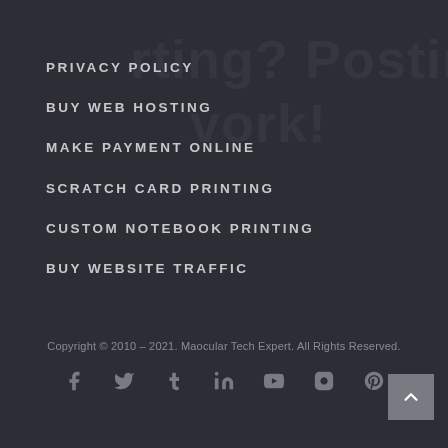PRIVACY POLICY
BUY WEB HOSTING
MAKE PAYMENT ONLINE
SCRATCH CARD PRINTING
CUSTOM NOTEBOOK PRINTING
BUY WEBSITE TRAFFIC
Copyright © 2010 – 2021. Maocular Tech Expert. All Rights Reserved.